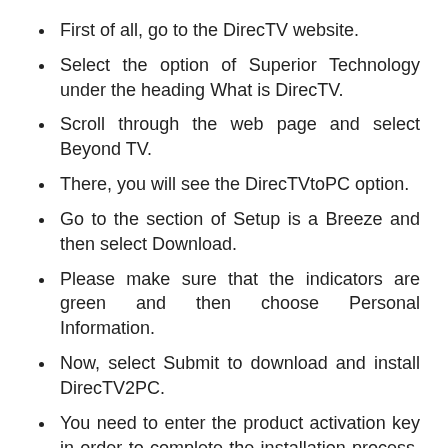First of all, go to the DirecTV website.
Select the option of Superior Technology under the heading What is DirecTV.
Scroll through the web page and select Beyond TV.
There, you will see the DirecTVtoPC option.
Go to the section of Setup is a Breeze and then select Download.
Please make sure that the indicators are green and then choose Personal Information.
Now, select Submit to download and install DirecTV2PC.
You need to enter the product activation key in order to complete the installation process. You will see this activation key in the inbox of your